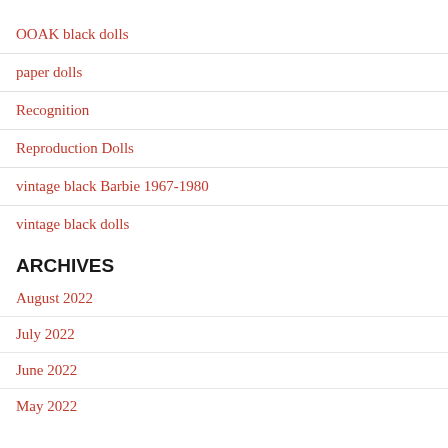OOAK black dolls
paper dolls
Recognition
Reproduction Dolls
vintage black Barbie 1967-1980
vintage black dolls
ARCHIVES
August 2022
July 2022
June 2022
May 2022